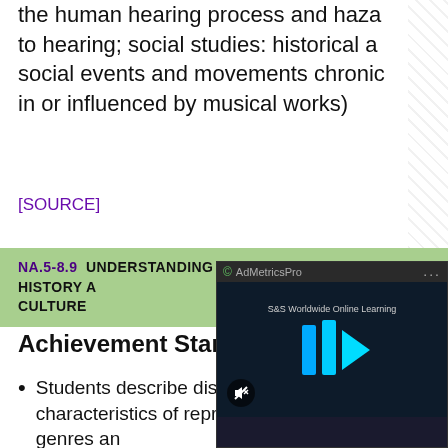the human hearing process and hazards to hearing; social studies: historical and social events and movements chronicled in or influenced by musical works)
[SOURCE]
NA.5-8.9 UNDERSTANDING MUSIC IN RELATION TO HISTORY AND CULTURE
Achievement Standard:
Students describe distinguishing characteristics of representative musical genres and styles from a variety of cultures
Students classify by genre and style (and, if applicable, by historical period, composer, and title) a varied body of exemplary musical works and explain the characteristics that cause each work to be considered exemplary